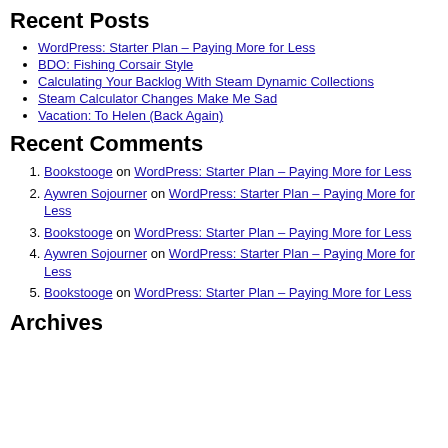Recent Posts
WordPress: Starter Plan – Paying More for Less
BDO: Fishing Corsair Style
Calculating Your Backlog With Steam Dynamic Collections
Steam Calculator Changes Make Me Sad
Vacation: To Helen (Back Again)
Recent Comments
Bookstooge on WordPress: Starter Plan – Paying More for Less
Aywren Sojourner on WordPress: Starter Plan – Paying More for Less
Bookstooge on WordPress: Starter Plan – Paying More for Less
Aywren Sojourner on WordPress: Starter Plan – Paying More for Less
Bookstooge on WordPress: Starter Plan – Paying More for Less
Archives